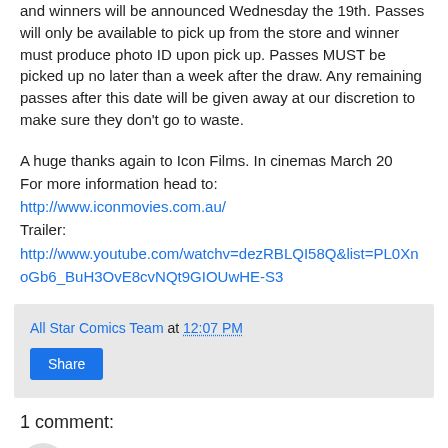and winners will be announced Wednesday the 19th. Passes will only be available to pick up from the store and winner must produce photo ID upon pick up. Passes MUST be picked up no later than a week after the draw. Any remaining passes after this date will be given away at our discretion to make sure they don't go to waste.
A huge thanks again to Icon Films. In cinemas March 20
For more information head to:
http://www.iconmovies.com.au/
Trailer:
http://www.youtube.com/watchv=dezRBLQI58Q&list=PL0XnoGb6_BuH3OvE8cvNQt9GIOUwHE-S3
All Star Comics Team at 12:07 PM
Share
1 comment:
All Star Comics Team  March 19, 2014 at 11:41 AM